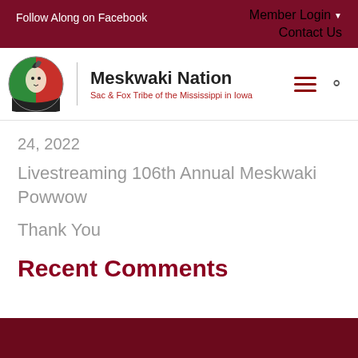Follow Along on Facebook    Member Login ▼    Contact Us
[Figure (logo): Meskwaki Nation logo — circular emblem with Native American figure, red/green/white colors, beside text 'Meskwaki Nation / Sac & Fox Tribe of the Mississippi in Iowa']
24, 2022
Livestreaming 106th Annual Meskwaki Powwow
Thank You
Recent Comments